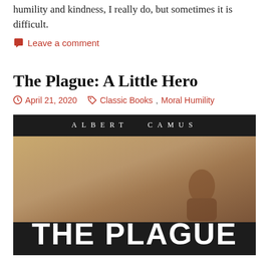humility and kindness, I really do, but sometimes it is difficult.
Leave a comment
The Plague: A Little Hero
April 21, 2020    Classic Books, Moral Humility
[Figure (photo): Book cover of 'The Plague' by Albert Camus. Dark background with 'ALBERT CAMUS' in spaced serif letters at the top. Large bold white text 'THE PLAGUE' at the bottom. Middle section shows a tan/beige background suggesting a scene.]